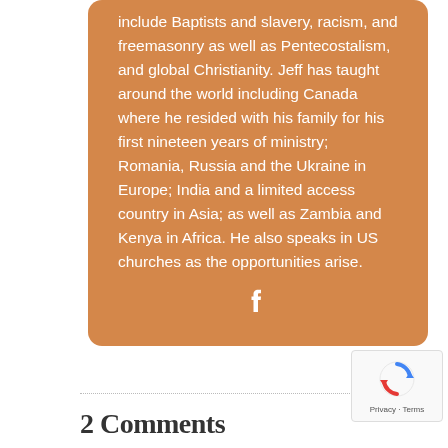include Baptists and slavery, racism, and freemasonry as well as Pentecostalism, and global Christianity. Jeff has taught around the world including Canada where he resided with his family for his first nineteen years of ministry; Romania, Russia and the Ukraine in Europe; India and a limited access country in Asia; as well as Zambia and Kenya in Africa. He also speaks in US churches as the opportunities arise.
[Figure (logo): Facebook icon (f logo) in white]
[Figure (logo): Google reCAPTCHA badge with spinning arrows logo and 'Privacy - Terms' text]
2 Comments